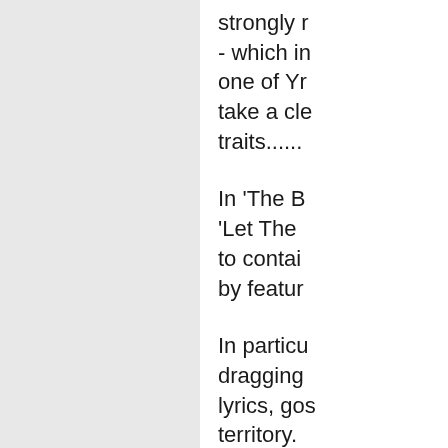strongly - which in one of Y take a cl traits.....
In 'The B 'Let The to contai by featur
In particu dragging lyrics, gos territory. seems to aforemen
'Cheroke cool song just one digest - b
'Guardia ballad - c